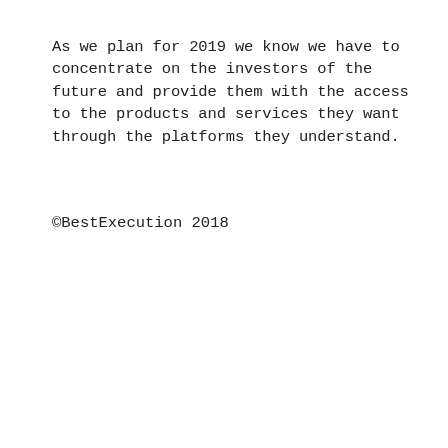As we plan for 2019 we know we have to concentrate on the investors of the future and provide them with the access to the products and services they want through the platforms they understand.
©BestExecution 2018